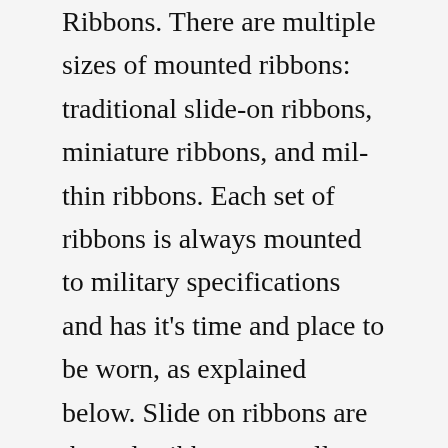Ribbons. There are multiple sizes of mounted ribbons: traditional slide-on ribbons, miniature ribbons, and mil-thin ribbons. Each set of ribbons is always mounted to military specifications and has it's time and place to be worn, as explained below. Slide on ribbons are the only ribbons we sell individually and as a mounted piece. CHARLES DICKENS Vintage c.1900 Commemorative Medal newtmcknz 5 out of 5 stars (997) $ 13.95 ... The Pickwick